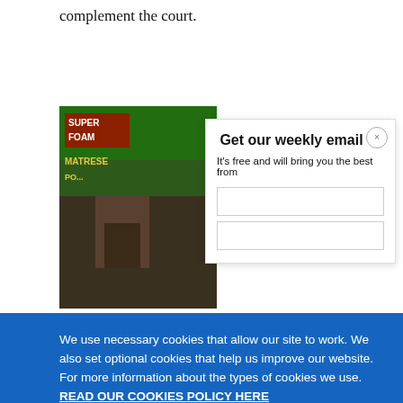complement the court.
[Figure (photo): Photo of a shop front sign reading SUPER FOAM and MATTRESS with yellow text on dark background, with green background behind]
Get our weekly email
It's free and will bring you the best from
We use necessary cookies that allow our site to work. We also set optional cookies that help us improve our website. For more information about the types of cookies we use. READ OUR COOKIES POLICY HERE
COOKIE SETTINGS
ALLOW ALL COOKIES
data.
An Intern